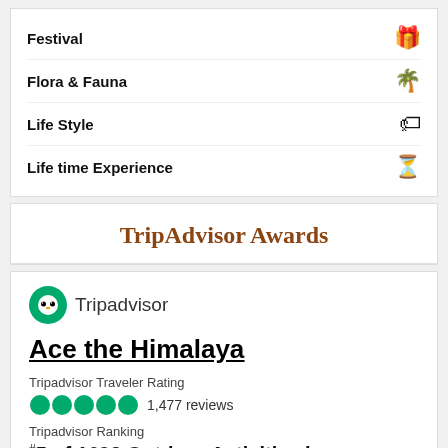Festival
Flora & Fauna
Life Style
Life time Experience
TripAdvisor Awards
[Figure (logo): Tripadvisor owl logo with brand name]
Ace the Himalaya
Tripadvisor Traveler Rating
1,477 reviews
Tripadvisor Ranking
#5 of 1692 Outdoor Activities in Kathmandu
Recent Traveler Reviews